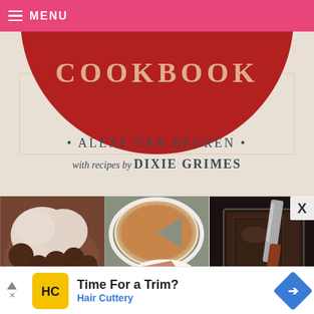≡ MENU
[Figure (photo): Cookbook cover showing partial title 'COOKBOOK' in decorative letters on red background, with author credit '• ALEXE VAN BEUREN •' and 'with recipes by DIXIE GRIMES' on cream/linen background]
[Figure (photo): Close-up food photo: cookies or truffles in a bowl with whipped cream]
[Figure (photo): Food photo: a pie in a pie dish with one slice cut and served on a plate with a fork]
[Figure (photo): Food photo: chocolate brownie or cake being cut with a spatula/knife]
[Figure (screenshot): Advertisement banner: Hair Cuttery ad — 'Time For a Trim? Hair Cuttery' with yellow logo, blue arrow icon, and navigation arrow buttons]